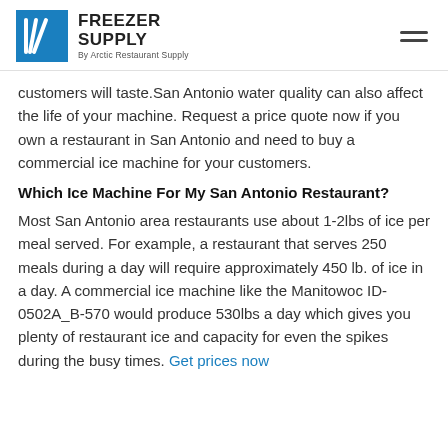FREEZER SUPPLY By Arctic Restaurant Supply
customers will taste.San Antonio water quality can also affect the life of your machine. Request a price quote now if you own a restaurant in San Antonio and need to buy a commercial ice machine for your customers.
Which Ice Machine For My San Antonio Restaurant?
Most San Antonio area restaurants use about 1-2lbs of ice per meal served. For example, a restaurant that serves 250 meals during a day will require approximately 450 lb. of ice in a day. A commercial ice machine like the Manitowoc ID-0502A_B-570 would produce 530lbs a day which gives you plenty of restaurant ice and capacity for even the spikes during the busy times. Get prices now